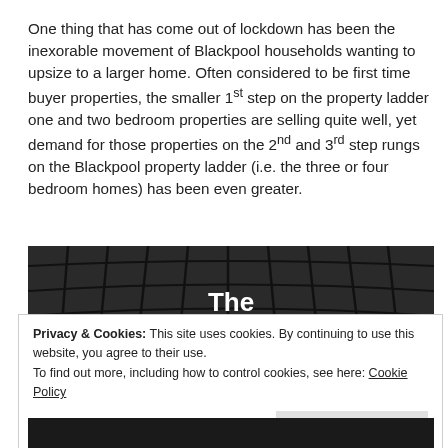One thing that has come out of lockdown has been the inexorable movement of Blackpool households wanting to upsize to a larger home. Often considered to be first time buyer properties, the smaller 1st step on the property ladder one and two bedroom properties are selling quite well, yet demand for those properties on the 2nd and 3rd step rungs on the Blackpool property ladder (i.e. the three or four bedroom homes) has been even greater.
[Figure (photo): Dark architectural photo showing a curved glass ceiling grid structure with white bold text overlay reading 'The Blackpool']
Privacy & Cookies: This site uses cookies. By continuing to use this website, you agree to their use. To find out more, including how to control cookies, see here: Cookie Policy
Close and accept